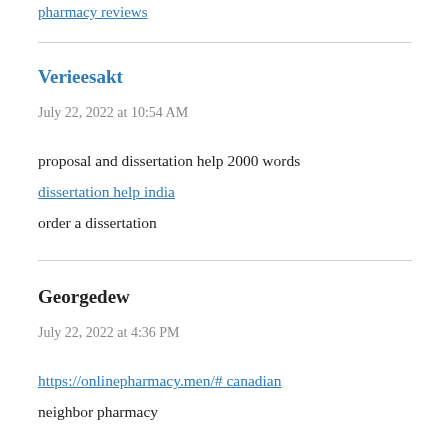pharmacy reviews
Verieesakt
July 22, 2022 at 10:54 AM
proposal and dissertation help 2000 words
dissertation help india
order a dissertation
Georgedew
July 22, 2022 at 4:36 PM
https://onlinepharmacy.men/# canadian neighbor pharmacy